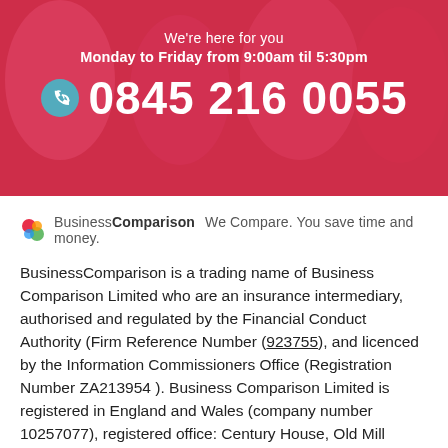[Figure (photo): Pink/red hero banner with blurred background image of people, overlaid with contact information]
We're here for you
Monday to Friday from 9:00am til 5:30pm
0845 216 0055
[Figure (logo): Business Comparison logo with colourful icon and tagline: We Compare. You save time and money.]
BusinessComparison is a trading name of Business Comparison Limited who are an insurance intermediary, authorised and regulated by the Financial Conduct Authority (Firm Reference Number (923755), and licenced by the Information Commissioners Office (Registration Number ZA213954 ). Business Comparison Limited is registered in England and Wales (company number 10257077), registered office: Century House, Old Mill Place, Tattenhall, Chester CH3 9RJ.